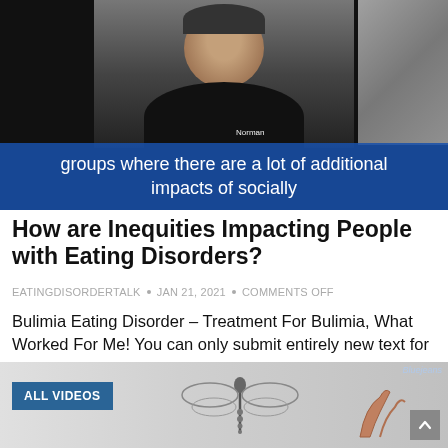[Figure (screenshot): Video screenshot showing a person (labeled 'Norman') on a dark background with blue subtitle bar reading: 'groups where there are a lot of additional impacts of socially']
How are Inequities Impacting People with Eating Disorders?
EATINGDISORDERTALK  •  JAN 21, 2021  •  COMMENTS OFF
Bulimia Eating Disorder – Treatment For Bulimia, What Worked For Me! You can only submit entirely new text for analysis once every 7 seconds. What My Dog Teaches Me About…
CONTINUE READING »
[Figure (screenshot): Bottom video thumbnail showing dragonfly and plant illustrations on a light background, with 'ALL VIDEOS' button on the left and 'Bluejeans' tag top-right, and a scroll-up button bottom-right.]